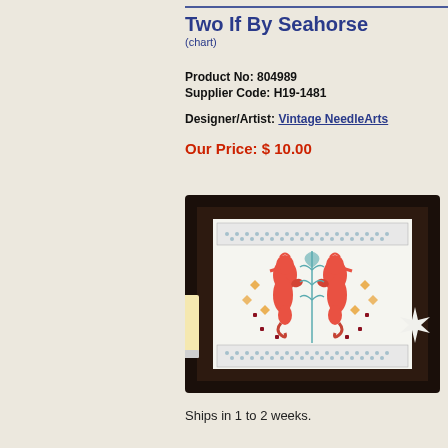Two If By Seahorse
(chart)
Product No: 804989
Supplier Code: H19-1481
Designer/Artist: Vintage NeedleArts
Our Price: $ 10.00
[Figure (photo): Framed cross-stitch of two red seahorses facing each other with decorative border, displayed with candle, seashells, and starfish]
Ships in 1 to 2 weeks.